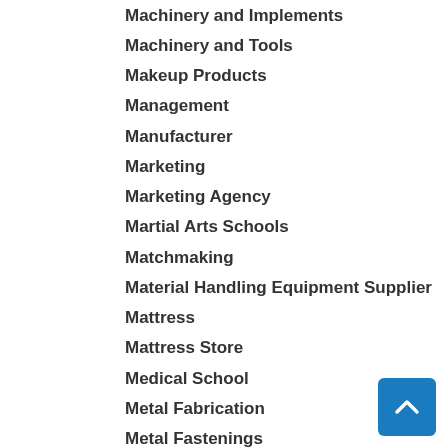Machinery and Implements
Machinery and Tools
Makeup Products
Management
Manufacturer
Marketing
Marketing Agency
Martial Arts Schools
Matchmaking
Material Handling Equipment Supplier
Mattress
Mattress Store
Medical School
Metal Fabrication
Metal Fastenings
Metal Finisher
Metal Industry